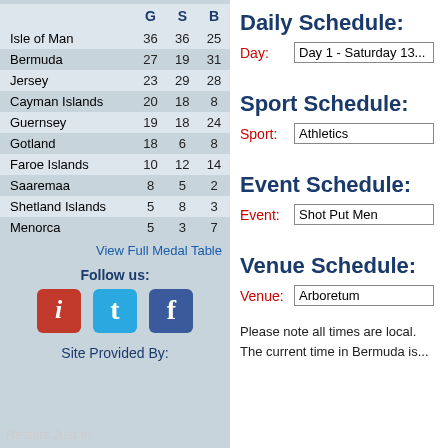|  | G | S | B |
| --- | --- | --- | --- |
| Isle of Man | 36 | 36 | 25 |
| Bermuda | 27 | 19 | 31 |
| Jersey | 23 | 29 | 28 |
| Cayman Islands | 20 | 18 | 8 |
| Guernsey | 19 | 18 | 24 |
| Gotland | 18 | 6 | 8 |
| Faroe Islands | 10 | 12 | 14 |
| Saaremaa | 8 | 5 | 2 |
| Shetland Islands | 5 | 8 | 3 |
| Menorca | 5 | 3 | 7 |
View Full Medal Table
Follow us:
[Figure (infographic): Three social media icons: red i-info icon, blue Twitter bird icon, blue Facebook f icon]
Site Provided By:
Results Just In
Daily Schedule:
Day: Day 1 - Saturday 13...
Sport Schedule:
Sport: Athletics
Event Schedule:
Event: Shot Put Men
Venue Schedule:
Venue: Arboretum
Please note all times are local. The current time in Bermuda is...